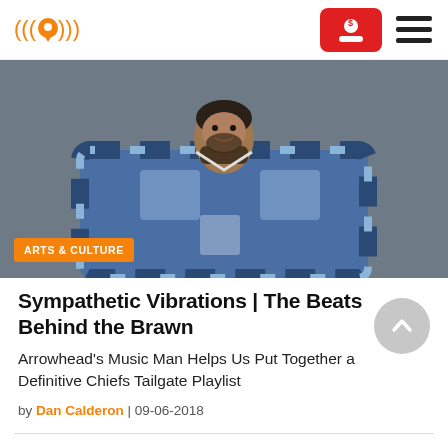Navigation bar with logo, account button, and menu
[Figure (photo): A bearded man wearing a blue plaid shirt, photographed against a gray background. An 'ARTS & CULTURE' orange badge overlays the bottom-left corner of the image.]
Sympathetic Vibrations | The Beats Behind the Brawn
Arrowhead's Music Man Helps Us Put Together a Definitive Chiefs Tailgate Playlist
by Dan Calderon | 09-06-2018